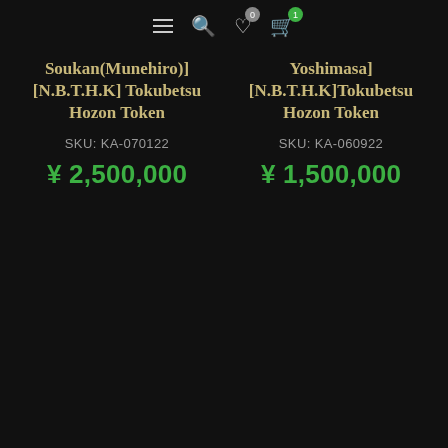≡ 🔍 ♡ 🛒 (navigation icons with badges 0 and 1)
Soukan(Munehiro)] [N.B.T.H.K] Tokubetsu Hozon Token
SKU: KA-070122
¥ 2,500,000
Yoshimasa] [N.B.T.H.K]Tokubetsu Hozon Token
SKU: KA-060922
¥ 1,500,000